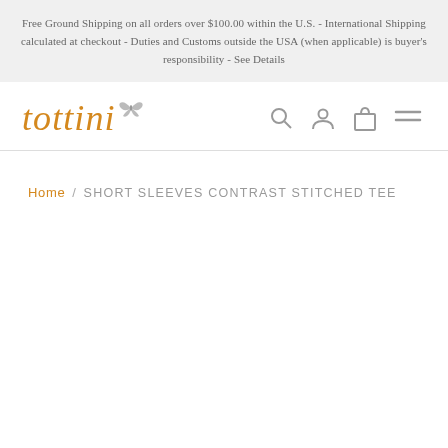Free Ground Shipping on all orders over $100.00 within the U.S. - International Shipping calculated at checkout - Duties and Customs outside the USA (when applicable) is buyer's responsibility - See Details
[Figure (logo): Tottini logo with orange italic text 'tottini' and a small butterfly icon, alongside navigation icons for search, account, cart, and hamburger menu]
Home / SHORT SLEEVES CONTRAST STITCHED TEE